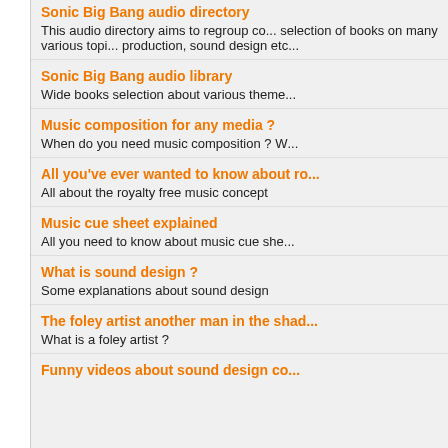Sonic Big Bang audio directory
This audio directory aims to regroup co... selection of books on many various topi... production, sound design etc...
Sonic Big Bang audio library
Wide books selection about various theme...
Music composition for any media ?
When do you need music composition ? W...
All you've ever wanted to know about r...
All about the royalty free music concept
Music cue sheet explained
All you need to know about music cue she...
What is sound design ?
Some explanations about sound design
The foley artist another man in the shad...
What is a foley artist ?
Funny videos about sound design co...